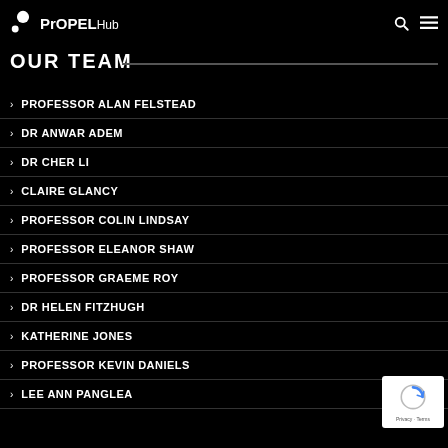PrOPEL Hub
OUR TEAM
PROFESSOR ALAN FELSTEAD
DR ANWAR ADEM
DR CHER LI
CLAIRE GLANCY
PROFESSOR COLIN LINDSAY
PROFESSOR ELEANOR SHAW
PROFESSOR GRAEME ROY
DR HELEN FITZHUGH
KATHERINE JONES
PROFESSOR KEVIN DANIELS
LEE ANN PANGLEA